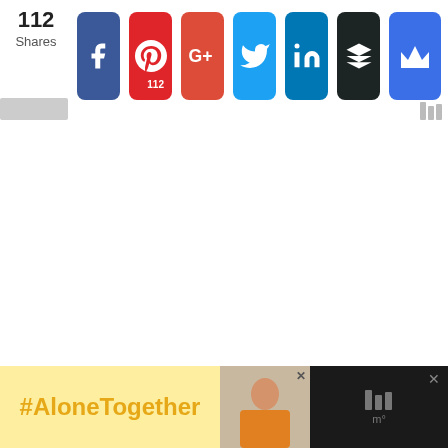112 Shares
[Figure (infographic): Social sharing bar with Facebook, Pinterest (112), Google+, Twitter, LinkedIn, Buffer, and a crown icon buttons]
[Figure (infographic): Bottom advertisement banner showing #AloneTogether in orange text on yellow background, a photo of a woman at a laptop, and close/menu icons on dark background]